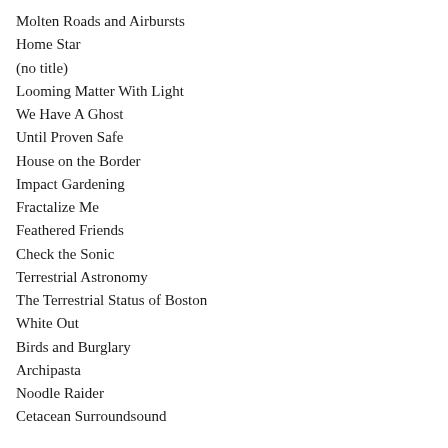Molten Roads and Airbursts
Home Star
(no title)
Looming Matter With Light
We Have A Ghost
Until Proven Safe
House on the Border
Impact Gardening
Fractalize Me
Feathered Friends
Check the Sonic
Terrestrial Astronomy
The Terrestrial Status of Boston
White Out
Birds and Burglary
Archipasta
Noodle Raider
Cetacean Surroundsound